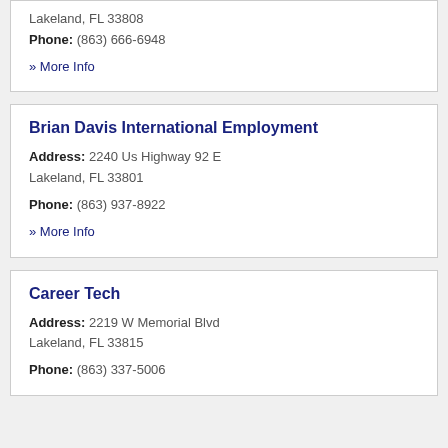Lakeland, FL 33808
Phone: (863) 666-6948
» More Info
Brian Davis International Employment
Address: 2240 Us Highway 92 E Lakeland, FL 33801
Phone: (863) 937-8922
» More Info
Career Tech
Address: 2219 W Memorial Blvd Lakeland, FL 33815
Phone: (863) 337-5006